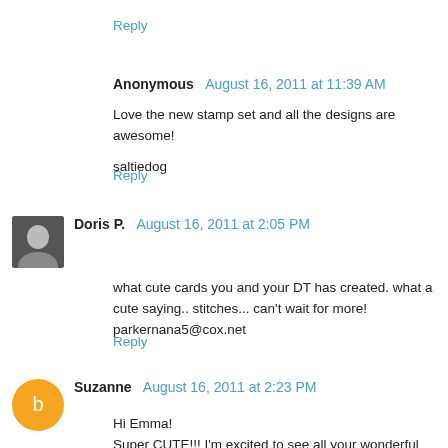Reply
Anonymous  August 16, 2011 at 11:39 AM
Love the new stamp set and all the designs are awesome!

saltiedog
Reply
Doris P.  August 16, 2011 at 2:05 PM
what cute cards you and your DT has created. what a cute saying.. stitches... can't wait for more!
parkernana5@cox.net
Reply
Suzanne  August 16, 2011 at 2:23 PM
Hi Emma!
Super CUTE!!! I'm excited to see all your wonderful